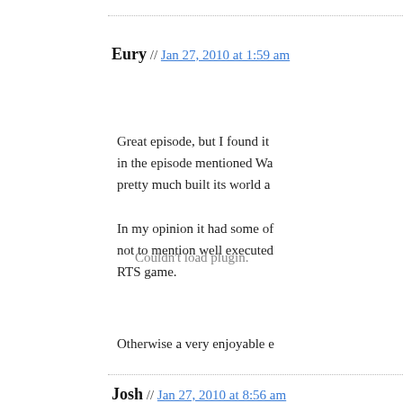Couldn't load plugin.
Eury // Jan 27, 2010 at 1:59 am
Great episode, but I found it in the episode mentioned Wa pretty much built its world a
In my opinion it had some of not to mention well executed RTS game.
Otherwise a very enjoyable e
Josh // Jan 27, 2010 at 8:56 am
This is going to be something me, a story in a traditional se passive stance, listening to a